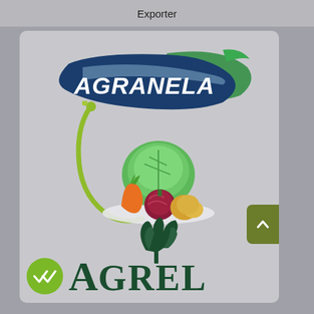Exporter
[Figure (logo): AGRANELA brand logo with dark blue leaf/swoosh shape and green accent leaf, white italic text reading AGRANELA]
[Figure (illustration): Colorful vegetable illustration showing green leafy cabbage, orange carrot, dark red beet/onion, and yellow-orange squash on a white oval plate, with a green decorative curl element]
[Figure (logo): AGREL brand logo with dark green herb/parsley illustration above large serif text AGREL in dark green]